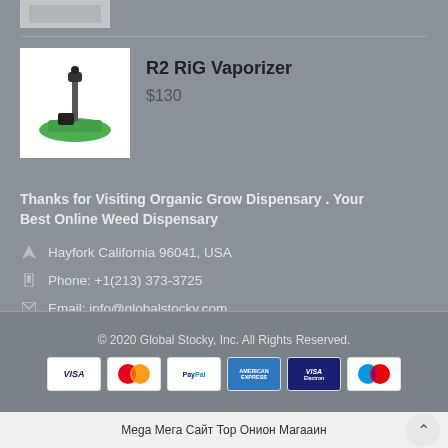[Figure (photo): Partial view of a product image at top]
[Figure (photo): R2 RiG Vaporizer product thumbnail showing device on green base]
R2 RiG Vaporizer
$130
Thanks for Visiting Organic Grow Dispensary . Your Best Online Weed Dispensary
Hayfork California 96041, USA
Phone: +1(213) 373-3725
Email: info@globalstocky.com
© 2020 Global Stocky, Inc. All Rights Reserved.
[Figure (other): Payment method icons: VISA, MasterCard, PayPal, American Express, VISA Electron, Maestro]
Mega Мега Сайт Тор Онион Магааин